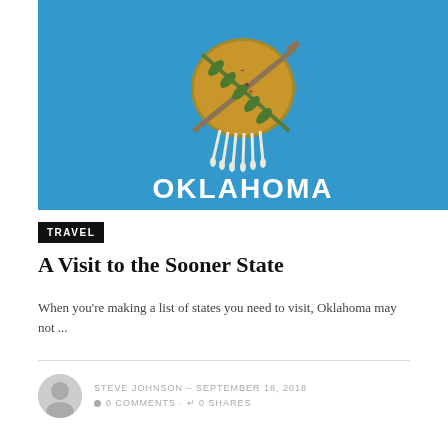[Figure (illustration): Oklahoma state flag on blue background showing Native American shield with eagle feathers, peace pipe and olive branch, with text OKLAHOMA in white letters below]
TRAVEL
A Visit to the Sooner State
When you're making a list of states you need to visit, Oklahoma may not ...
STEVE JOHNSON – SEPTEMBER 18, 2018
0 COMMENTS · 0 SHARES